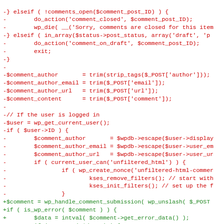[Figure (screenshot): Code diff showing PHP code. Lines beginning with '-' are shown in red (removed), lines beginning with '+' are shown in green (added). The code shows WordPress comment handling logic being refactored.]